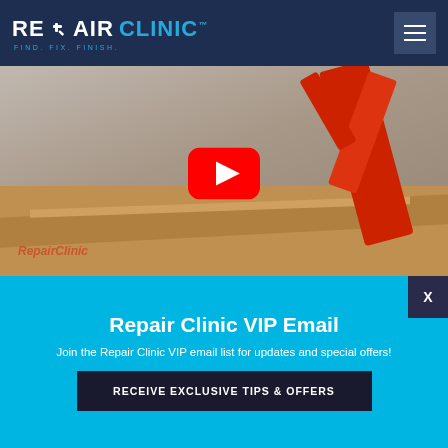REPAIR CLINIC – FIND. FIX. FINISH.
[Figure (screenshot): Video thumbnail showing a pressure washer gun being held over an open cardboard box, with RepairClinic watermark and a YouTube play button overlay in the center.]
Find the right pressure washer parts with Repair Clinic
Repair Clinic VIP Email
Join the Repair Clinic VIP email list for updates and special offers!
RECEIVE EXCLUSIVE TIPS & OFFERS